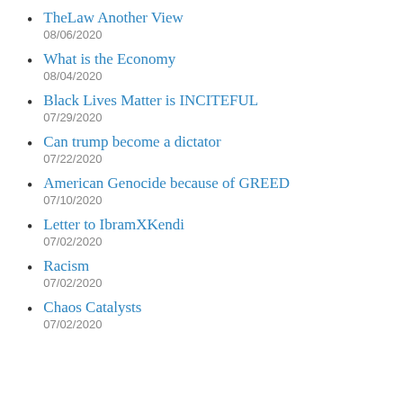TheLaw Another View
08/06/2020
What is the Economy
08/04/2020
Black Lives Matter is INCITEFUL
07/29/2020
Can trump become a dictator
07/22/2020
American Genocide because of GREED
07/10/2020
Letter to IbramXKendi
07/02/2020
Racism
07/02/2020
Chaos Catalysts
07/02/2020